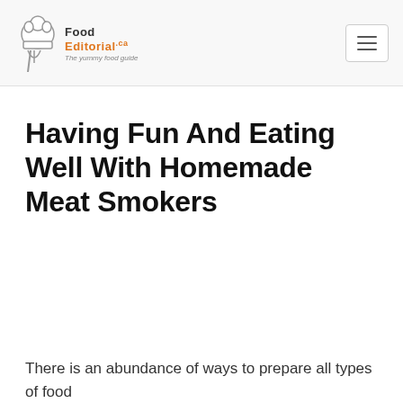Food Editorial.ca — The yummy food guide
Having Fun And Eating Well With Homemade Meat Smokers
There is an abundance of ways to prepare all types of food